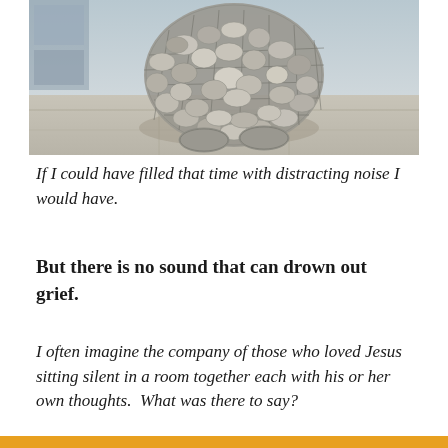[Figure (photo): A sculpture made of river rocks or pebbles held together by wire mesh, shaped like a crouching or huddled figure, photographed outdoors on a concrete surface near a building.]
If I could have filled that time with distracting noise I would have.
But there is no sound that can drown out grief.
I often imagine the company of those who loved Jesus sitting silent in a room together each with his or her own thoughts.  What was there to say?